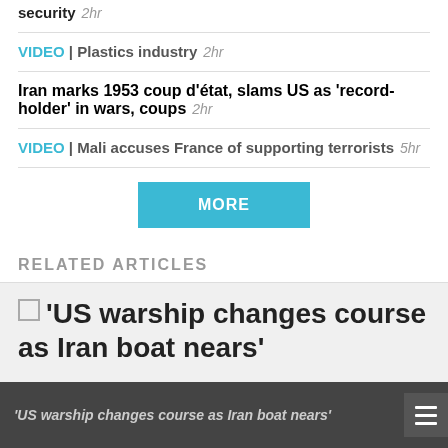security  2hr
VIDEO | Plastics industry  2hr
Iran marks 1953 coup d'état, slams US as 'record-holder' in wars, coups  2hr
VIDEO | Mali accuses France of supporting terrorists  5hr
MORE
RELATED ARTICLES
[Figure (photo): Thumbnail image placeholder for article 'US warship changes course as Iran boat nears']
'US warship changes course as Iran boat nears'
'US warship changes course as Iran boat nears'